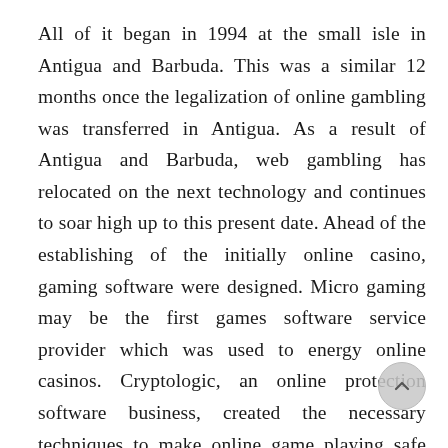All of it began in 1994 at the small isle in Antigua and Barbuda. This was a similar 12 months once the legalization of online gambling was transferred in Antigua. As a result of Antigua and Barbuda, web gambling has relocated on the next technology and continues to soar high up to this present date. Ahead of the establishing of the initially online casino, gaming software were designed. Micro gaming may be the first games software service provider which was used to energy online casinos. Cryptologic, an online protection software business, created the necessary techniques to make online game playing safe and secure as possible. The online casino sector certainly did not possess a handy start; the businesses handled concerns on legality and dependence on gambling. A number of people by no means definitely like the idea of gambling online hence they marketed contra –gambling strategies to fight its acceptance.